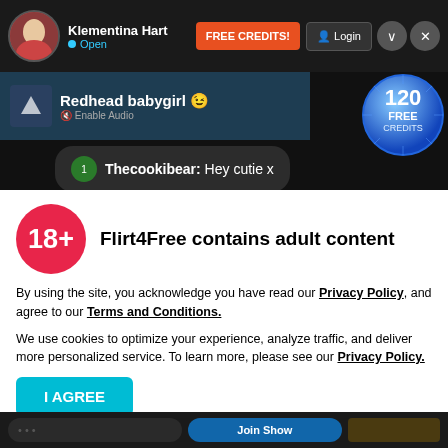Klementina Hart • Open | FREE CREDITS! | Login
Redhead babygirl 😉 | Enable Audio
Thecookibear: Hey cutie x
Thecookibear: Love me a ginger 😍
[Figure (screenshot): 120 FREE CREDITS badge — circular blue radial gradient badge with text '120 FREE CREDITS']
Thecookibear: How are you doing, you are feeling as good as you look
Flirt4Free contains adult content
By using the site, you acknowledge you have read our Privacy Policy, and agree to our Terms and Conditions.
We use cookies to optimize your experience, analyze traffic, and deliver more personalized service. To learn more, please see our Privacy Policy.
18+
I AGREE
Hi, nice to meet you :) | Very sexy baby